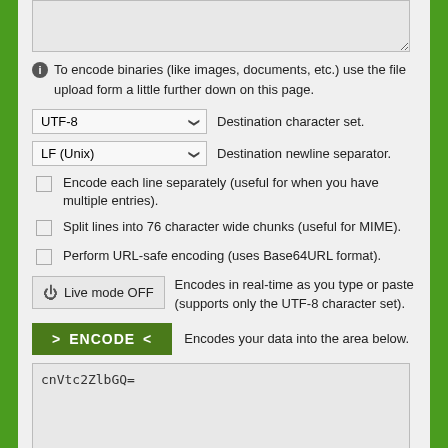[Figure (screenshot): Text area input box at the top, partially visible]
To encode binaries (like images, documents, etc.) use the file upload form a little further down on this page.
UTF-8  Destination character set.
LF (Unix)  Destination newline separator.
Encode each line separately (useful for when you have multiple entries).
Split lines into 76 character wide chunks (useful for MIME).
Perform URL-safe encoding (uses Base64URL format).
Live mode OFF  Encodes in real-time as you type or paste (supports only the UTF-8 character set).
ENCODE  Encodes your data into the area below.
cnVtc2ZlbGQ=